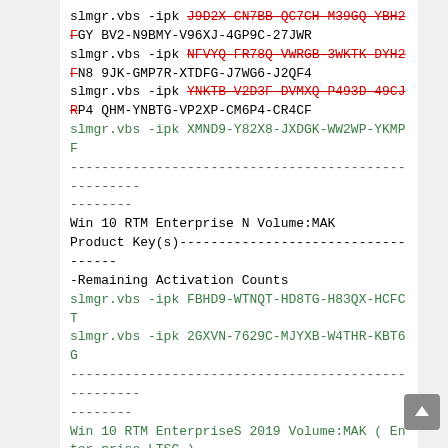slmgr.vbs -ipk J9D2X-CN7BB-QC7CH-M39GQ-YBH2F[strikethrough] GY BV2-N9BMY-V96XJ-4GP9C-27JWR
slmgr.vbs -ipk NFVYQ-FR78Q-VWRGB-3WKTK-DYH2F[strikethrough] N8 9JK-GMP7R-XTDFG-J7WG6-J2QF4
slmgr.vbs -ipk YNKTB-V2D3F-DVMXQ-P493D-49CJR[strikethrough] P4 QHM-YNBTG-VP2XP-CM6P4-CR4CF
slmgr.vbs -ipk XMND9-Y82X8-JXDGK-WW2WP-YKMPF
----------------------------------------------------
--------
Win 10 RTM Enterprise N Volume:MAK
Product Key(s)-----------------------------------
-Remaining Activation Counts
slmgr.vbs -ipk FBHD9-WTNQT-HD8TG-H83QX-HCFCT
slmgr.vbs -ipk 2GXVN-7629C-MJYXB-W4THR-KBT6G
----------------------------------------------------
--------
Win 10 RTM EnterpriseS 2019 Volume:MAK ( Enterprise LTSC )
Product Key(s)-----------------------------------
-Remaining Activation Counts
slmgr.vbs -ipk WQ946-WNPYK-W9F2V-BFMCK-RM7WP
----------------------------------------------------